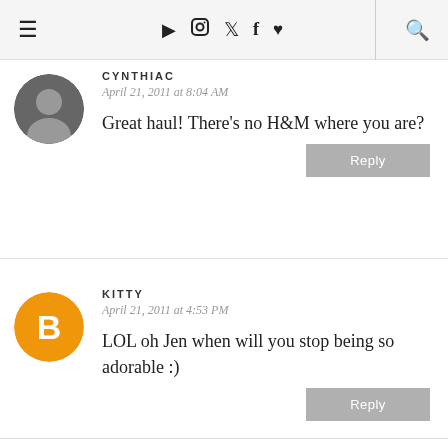Navigation bar with hamburger menu, social icons (YouTube, Instagram, Twitter, Facebook, heart), and search icon
CYNTHIAC
April 21, 2011 at 8:04 AM
Great haul! There's no H&M where you are?
Reply
KITTY
April 21, 2011 at 4:53 PM
LOL oh Jen when will you stop being so adorable :)
Reply